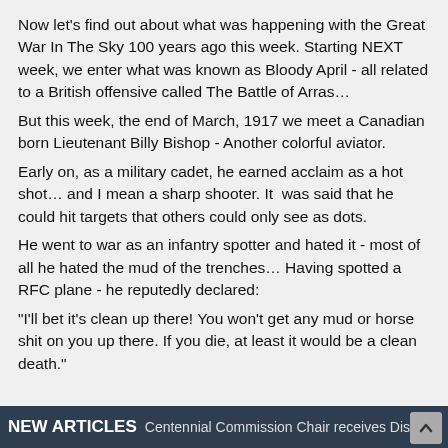Now let's find out about what was happening with the Great War In The Sky 100 years ago this week. Starting NEXT week, we enter what was known as Bloody April - all related to a British offensive called The Battle of Arras… But this week, the end of March, 1917 we meet a Canadian born Lieutenant Billy Bishop - Another colorful aviator. Early on, as a military cadet, he earned acclaim as a hot shot… and I mean a sharp shooter. It  was said that he could hit targets that others could only see as dots. He went to war as an infantry spotter and hated it - most of all he hated the mud of the trenches… Having spotted a RFC plane - he reputedly declared: "I'll bet it's clean up there! You won't get any mud or horse shit on you up there. If you die, at least it would be a clean death."
NEW ARTICLES  Centennial Commission Chair receives Disting